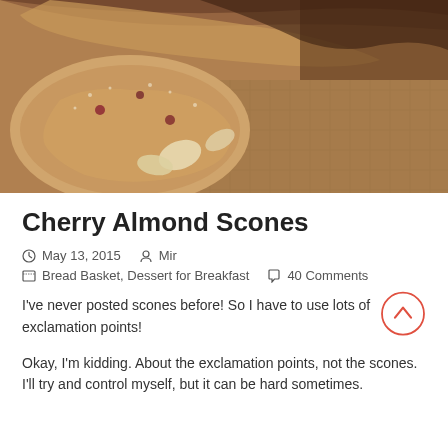[Figure (photo): Close-up photo of cherry almond scones on a surface, showing flaky texture with visible almonds and cherries]
Cherry Almond Scones
May 13, 2015   Mir
Bread Basket, Dessert for Breakfast   40 Comments
I've never posted scones before! So I have to use lots of exclamation points!
Okay, I'm kidding. About the exclamation points, not the scones. I'll try and control myself, but it can be hard sometimes.